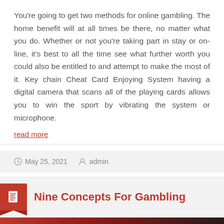You're going to get two methods for online gambling. The home benefit will at all times be there, no matter what you do. Whether or not you're taking part in stay or on-line, it's best to all the time see what further worth you could also be entitled to and attempt to make the most of it. Key chain Cheat Card Enjoying System having a digital camera that scans all of the playing cards allows you to win the sport by vibrating the system or microphone.
read more
May 25, 2021  admin
Nine Concepts For Gambling